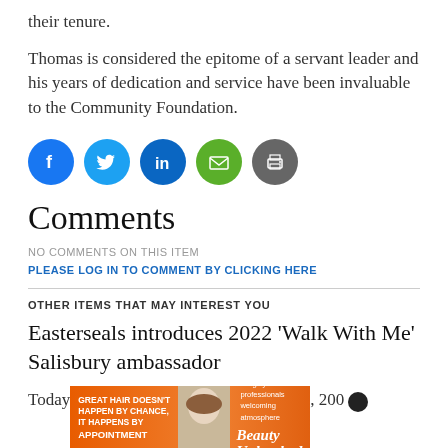their tenure.
Thomas is considered the epitome of a servant leader and his years of dedication and service have been invaluable to the Community Foundation.
[Figure (infographic): Row of five social sharing icons: Facebook (blue circle with f), Twitter (light blue circle with bird), LinkedIn (dark blue circle with 'in'), Email (green circle with envelope), Print (grey circle with printer)]
Comments
NO COMMENTS ON THIS ITEM   PLEASE LOG IN TO COMMENT BY CLICKING HERE
OTHER ITEMS THAT MAY INTEREST YOU
Easterseals introduces 2022 'Walk With Me' Salisbury ambassador
Today
[Figure (photo): Advertisement banner: orange background with text 'GREAT HAIR DOESN'T HAPPEN BY CHANCE, IT HAPPENS BY APPOINTMENT', woman with long hair photo, text 'full service salon 5 highly skilled professionals welcoming atmosphere', cursive 'Beauty Unleashed' logo, 'SERVICES' button]
, 200
Presen…h to